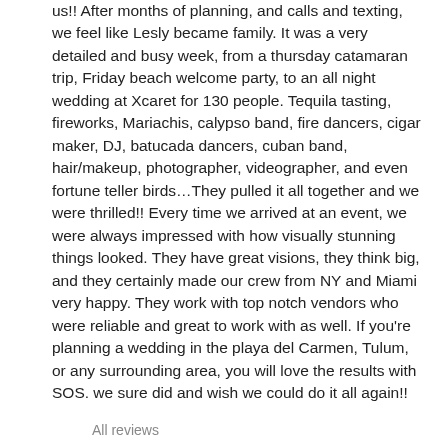us!! After months of planning, and calls and texting, we feel like Lesly became family. It was a very detailed and busy week, from a thursday catamaran trip, Friday beach welcome party, to an all night wedding at Xcaret for 130 people. Tequila tasting, fireworks, Mariachis, calypso band, fire dancers, cigar maker, DJ, batucada dancers, cuban band, hair/makeup, photographer, videographer, and even fortune teller birds…They pulled it all together and we were thrilled!! Every time we arrived at an event, we were always impressed with how visually stunning things looked. They have great visions, they think big, and they certainly made our crew from NY and Miami very happy. They work with top notch vendors who were reliable and great to work with as well. If you're planning a wedding in the playa del Carmen, Tulum, or any surrounding area, you will love the results with SOS. we sure did and wish we could do it all again!!
All reviews